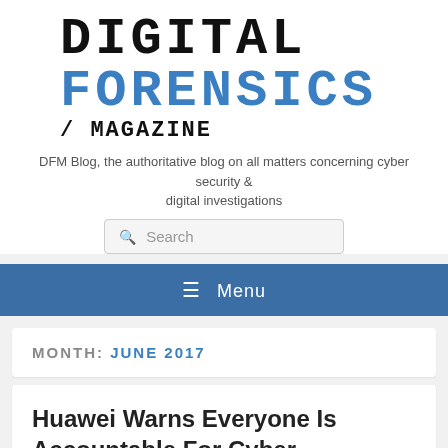[Figure (logo): Digital Forensics Magazine logo in pixel/monospace font style. 'DIGITAL' in black, 'FORENSICS' in blue, '/ MAGAZINE' in black below.]
DFM Blog, the authoritative blog on all matters concerning cyber security & digital investigations
Search
Menu
MONTH: JUNE 2017
Huawei Warns Everyone Is Accountable For Cyber Security